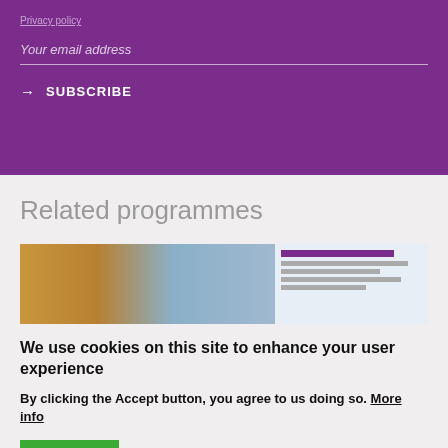Privacy policy
Your email address
→ SUBSCRIBE
Related programmes
[Figure (photo): Thumbnail image of a person and bookshelves, next to a text preview card with purple heading lines]
We use cookies on this site to enhance your user experience
By clicking the Accept button, you agree to us doing so. More info
ACCEPT   NO, THANKS